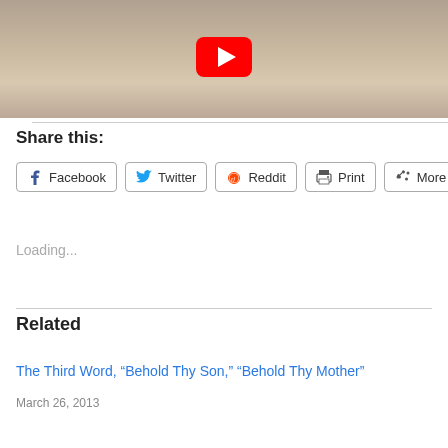[Figure (photo): YouTube video thumbnail showing a close-up of a woman's face with blonde hair and hoop earrings, with a YouTube play button overlay in the center]
Share this:
Facebook  Twitter  Reddit  Print  More
Loading...
Related
The Third Word, “Behold Thy Son,” “Behold Thy Mother”
March 26, 2013